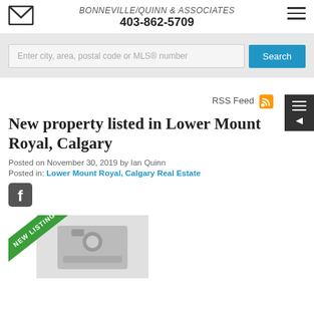BONNEVILLE/QUINN & ASSOCIATES
403-862-5709
Enter city, area, postal code or MLS® number
Search
RSS Feed
New property listed in Lower Mount Royal, Calgary
Posted on November 30, 2019 by Ian Quinn
Posted in: Lower Mount Royal, Calgary Real Estate
[Figure (photo): New property listing photo placeholder with camera icon and NEW LISTING diagonal green ribbon banner]